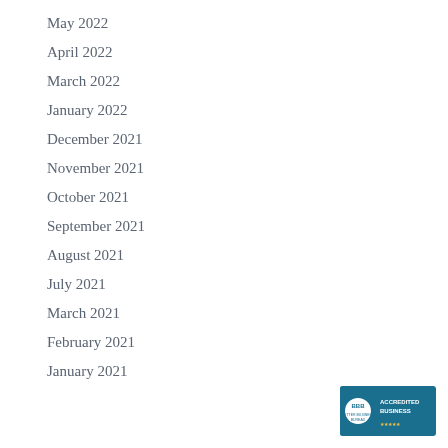May 2022
April 2022
March 2022
January 2022
December 2021
November 2021
October 2021
September 2021
August 2021
July 2021
March 2021
February 2021
January 2021
[Figure (logo): BBB Accredited Business badge]